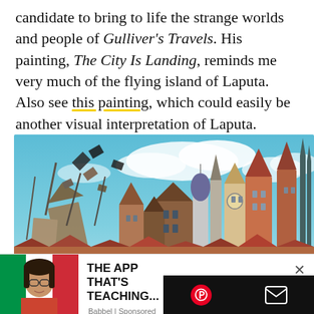candidate to bring to life the strange worlds and people of Gulliver's Travels. His painting, The City Is Landing, reminds me very much of the flying island of Laputa. Also see this painting, which could easily be another visual interpretation of Laputa.
[Figure (illustration): A fantastical painting of a floating medieval city with many towers, spires, and buildings crowded together against a blue sky with clouds. The city appears to be hovering or landing, with debris and structures falling from the left side.]
[Figure (infographic): Advertisement overlay showing: left side a thumbnail image of a person's face with Italian flag colors; center text reading 'THE APP THAT'S TEACHING...' with Babbel sponsored label; right Pinterest and email icons on dark bar.]